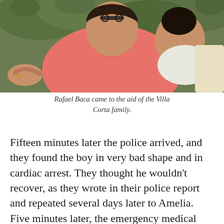[Figure (photo): A person wearing a pink/salmon polo shirt, sitting outdoors with green foliage in the background, holding a child. The person has a ring on their hand and is gesturing.]
Rafael Baca came to the aid of the Villa Corta family.
Fifteen minutes later the police arrived, and they found the boy in very bad shape and in cardiac arrest. They thought he wouldn't recover, as they wrote in their police report and repeated several days later to Amelia. Five minutes later, the emergency medical team arrived, and after a quarter of an hour finally managed to resuscitate the child, who began to cry. After an hour of stabilization, they put him on a ventilator and